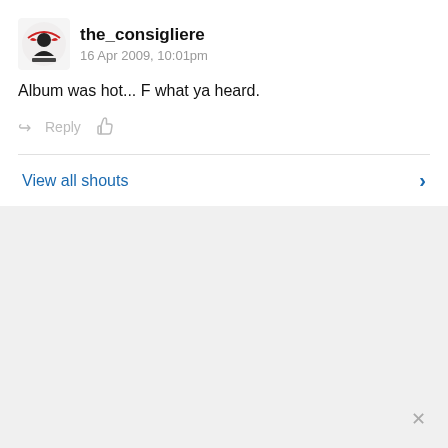[Figure (logo): User avatar icon for the_consigliere, a small illustrated emblem with text]
the_consigliere
16 Apr 2009, 10:01pm
Album was hot... F what ya heard.
Reply
View all shouts